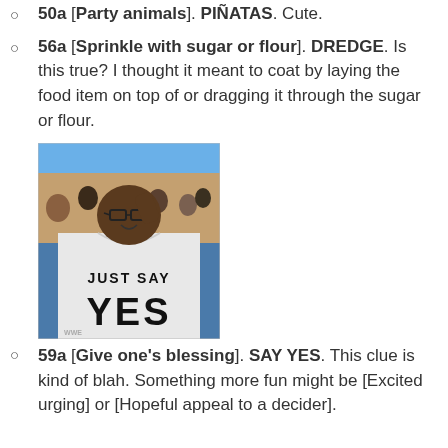50a [Party animals]. PIÑATAS. Cute.
56a [Sprinkle with sugar or flour]. DREDGE. Is this true? I thought it meant to coat by laying the food item on top of or dragging it through the sugar or flour.
[Figure (photo): A man wearing glasses and a white t-shirt that reads 'JUST SAY YES' in large bold letters, photographed at what appears to be a sporting event with a crowd in the background.]
59a [Give one's blessing]. SAY YES. This clue is kind of blah. Something more fun might be [Excited urging] or [Hopeful appeal to a decider].